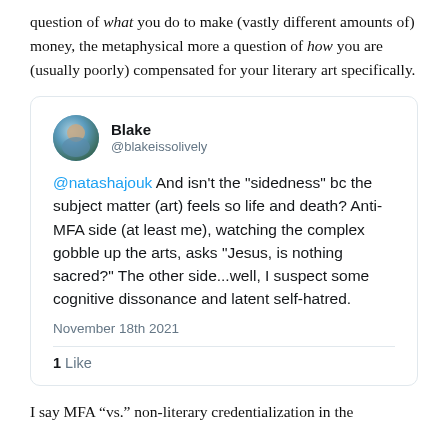question of what you do to make (vastly different amounts of) money, the metaphysical more a question of how you are (usually poorly) compensated for your literary art specifically.
[Figure (screenshot): Embedded tweet from Blake (@blakeissolively) dated November 18th 2021. Tweet text: '@natashajouk And isn't the "sidedness" bc the subject matter (art) feels so life and death? Anti-MFA side (at least me), watching the complex gobble up the arts, asks "Jesus, is nothing sacred?" The other side...well, I suspect some cognitive dissonance and latent self-hatred.' 1 Like.]
I say MFA “vs.” non-literary credentialization in the